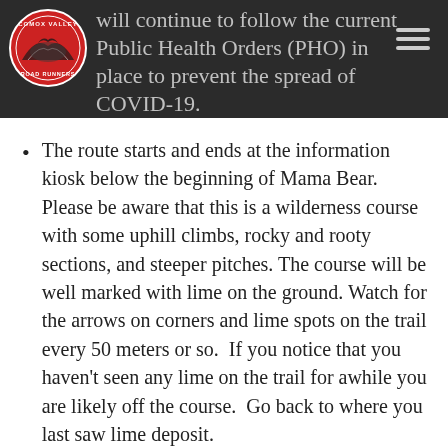will continue to follow the current Public Health Orders (PHO) in place to prevent the spread of COVID-19.
The route starts and ends at the information kiosk below the beginning of Mama Bear.    Please be aware that this is a wilderness course with some uphill climbs, rocky and rooty sections, and steeper pitches. The course will be well marked with lime on the ground. Watch for the arrows on corners and lime spots on the trail every 50 meters or so.  If you notice that you haven't seen any lime on the trail for awhile you are likely off the course.  Go back to where you last saw lime deposit.
We strongly recommend that you download the map,  print the map and follow the map and the description of the race route available on The Cumby website.